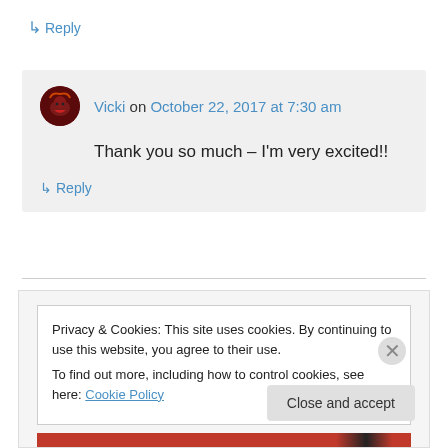↳ Reply
Vicki on October 22, 2017 at 7:30 am
Thank you so much – I'm very excited!!
↳ Reply
Privacy & Cookies: This site uses cookies. By continuing to use this website, you agree to their use.
To find out more, including how to control cookies, see here: Cookie Policy
Close and accept